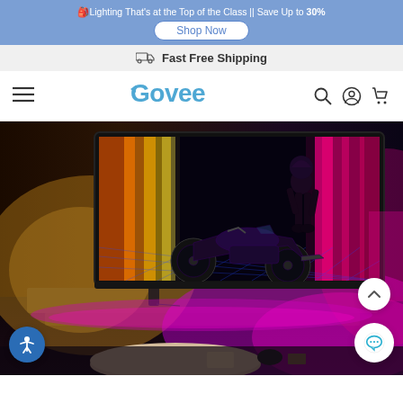🎒Lighting That's at the Top of the Class || Save Up to 30% Shop Now
Fast Free Shipping
[Figure (logo): Govee brand logo with stylized G arrow and colorful wordmark, with hamburger menu, search, account, and cart icons]
[Figure (photo): Living room scene with a large flatscreen TV displaying a neon-lit motorcyclist with colorful ambient backlighting (purple, pink, orange) from Govee LED lights, and a round coffee table in foreground]